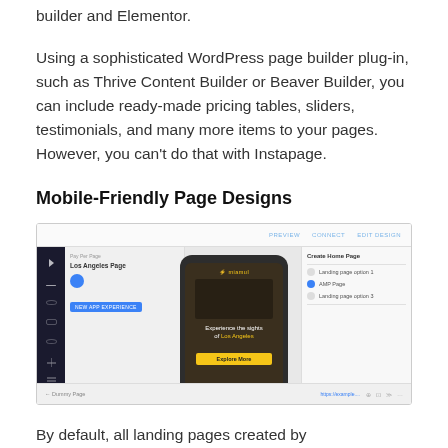builder and Elementor.
Using a sophisticated WordPress page builder plug-in, such as Thrive Content Builder or Beaver Builder, you can include ready-made pricing tables, sliders, testimonials, and many more items to your pages. However, you can't do that with Instapage.
Mobile-Friendly Page Designs
[Figure (screenshot): Screenshot of a web page builder interface showing a mobile phone mockup preview of a landing page with the text 'Experience the sights of Los Angeles' and an 'Explore More' button, alongside left and right panels with page settings.]
By default, all landing pages created by